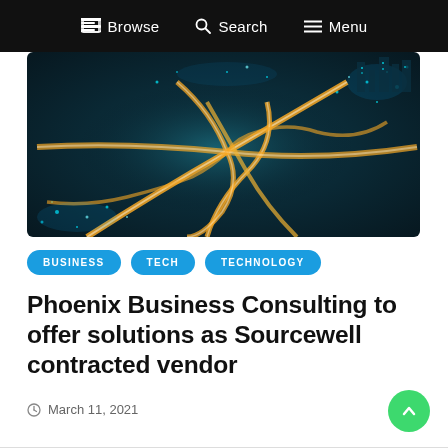Browse   Search   Menu
[Figure (photo): Aerial night photo of a city highway interchange with glowing orange and white light trails from vehicles, surrounded by teal-lit urban landscape]
BUSINESS   TECH   TECHNOLOGY
Phoenix Business Consulting to offer solutions as Sourcewell contracted vendor
March 11, 2021